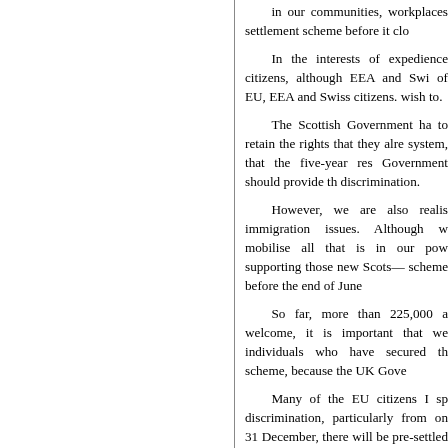in our communities, workplaces settlement scheme before it clo
In the interests of expedience citizens, although EEA and Swi of EU, EEA and Swiss citizens. wish to.
The Scottish Government ha to retain the rights that they alre system, that the five-year res Government should provide th discrimination.
However, we are also realis immigration issues. Although w mobilise all that is in our pow supporting those new Scots— scheme before the end of June
So far, more than 225,000 a welcome, it is important that we individuals who have secured th scheme, because the UK Gove
Many of the EU citizens I sp discrimination, particularly from on 31 December, there will be pre-settled status; secondly, pe secured their settled or pre-sett the first time after 1 January 20